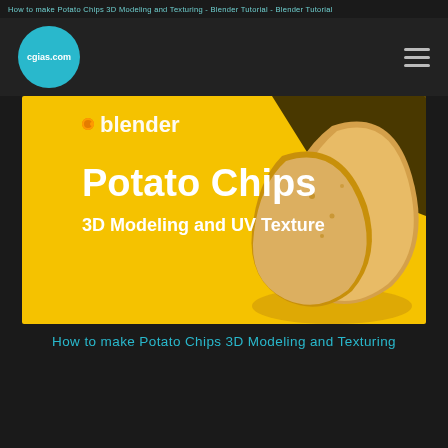How to make Potato Chips 3D Modeling and Texturing - Blender Tutorial
[Figure (screenshot): Navigation bar with cyan circular logo showing 'cgias.com' and a hamburger menu icon on dark background]
[Figure (illustration): Blender tutorial banner image with yellow background showing potato chips, Blender logo, text 'Potato Chips 3D Modeling and UV Texture' in white bold font]
How to make Potato Chips 3D Modeling and Texturing